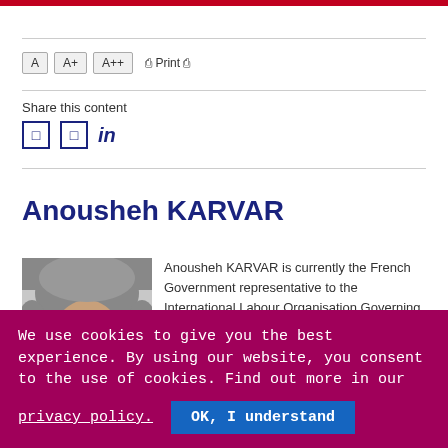A  A+  A++  Print
Share this content
Anousheh KARVAR
[Figure (photo): Headshot photo of Anousheh KARVAR, a woman with short grey-white hair.]
Anousheh KARVAR is currently the French Government representative to the International Labour Organisation Governing Body and to the G7-G20
We use cookies to give you the best experience. By using our website, you consent to the use of cookies. Find out more in our privacy policy.  OK, I understand